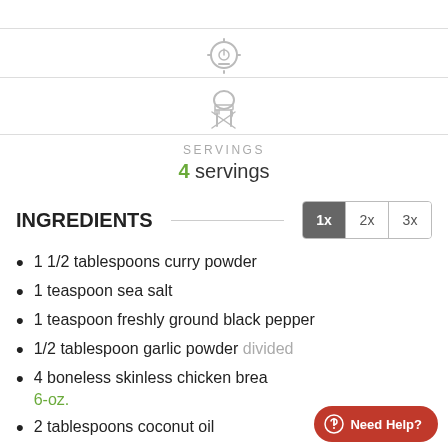[Figure (illustration): Timer/clock icon with horizontal rule above and below]
[Figure (illustration): Chef hat with fork and knife crossed icon, with horizontal rule above and below]
SERVINGS
4 servings
INGREDIENTS
1 1/2 tablespoons curry powder
1 teaspoon sea salt
1 teaspoon freshly ground black pepper
1/2 tablespoon garlic powder divided
4 boneless skinless chicken breasts, 6-oz.
2 tablespoons coconut oil